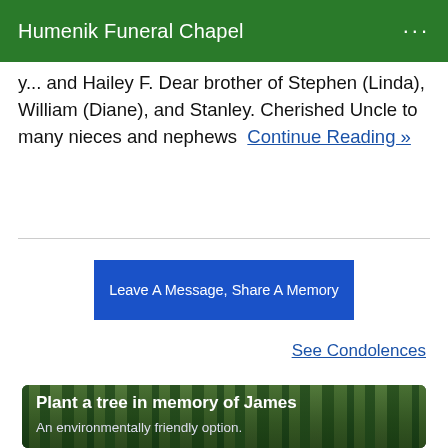Humenik Funeral Chapel
y... and Hailey F. Dear brother of Stephen (Linda), William (Diane), and Stanley. Cherished Uncle to many nieces and nephews  Continue Reading »
Leave A Message, Share A Memory
See Condolences
[Figure (photo): Forest background panel with text 'Plant a tree in memory of James' and subtitle 'An environmentally friendly option.']